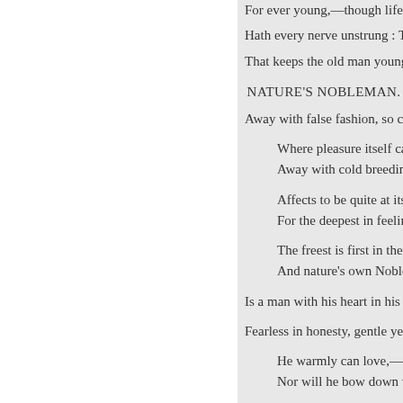For ever young,—though life's o
Hath every nerve unstrung : The
That keeps the old man young!
NATURE'S NOBLEMAN.
Away with false fashion, so calm
Where pleasure itself cann
Away with cold breeding, th
Affects to be quite at its ea
For the deepest in feeling is
The freest is first in the ba
And nature's own Nobleman
Is a man with his heart in his h
Fearless in honesty, gentle yet ju
He warmly can love,—and
Nor will he bow down with